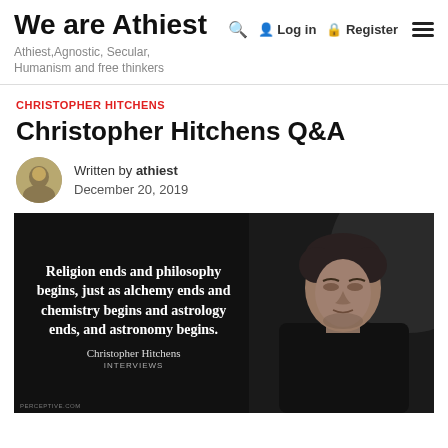We are Athiest
Athiest, Agnostic, Secular, Humanism and free thinkers
CHRISTOPHER HITCHENS
Christopher Hitchens Q&A
Written by athiest
December 20, 2019
[Figure (photo): Black and white image of Christopher Hitchens looking downward, overlaid with a quote: 'Religion ends and philosophy begins, just as alchemy ends and chemistry begins and astrology ends, and astronomy begins.' attributed to Christopher Hitchens. Watermark: PERCEPTIVE.COM]